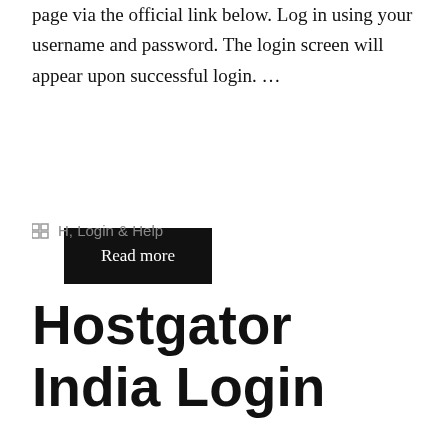page via the official link below. Log in using your username and password. The login screen will appear upon successful login. …
Read more
H, Login & Help
Hostgator India Login